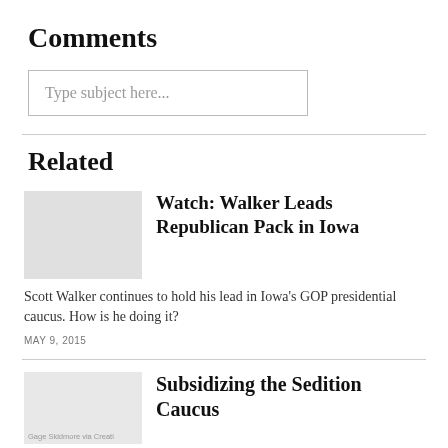Comments
Type subject here...
Related
Watch: Walker Leads Republican Pack in Iowa
Scott Walker continues to hold his lead in Iowa's GOP presidential caucus. How is he doing it?
MAY 9, 2015
Subsidizing the Sedition Caucus
Gage Skidmore via Creati